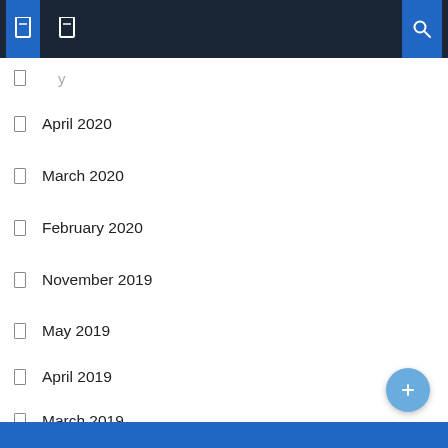Navigation bar with icons
April 2020
March 2020
February 2020
November 2019
August 2019
May 2019
April 2019
March 2019
February 2019